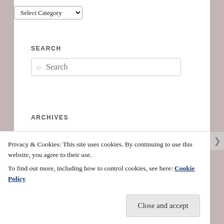Select Category
SEARCH
Search
ARCHIVES
April 2022
March 2022
November 2021
September 2021
August 2021
June 2021
Privacy & Cookies: This site uses cookies. By continuing to use this website, you agree to their use. To find out more, including how to control cookies, see here: Cookie Policy
Close and accept